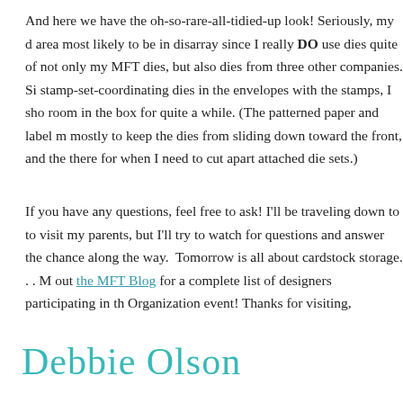And here we have the oh-so-rare-all-tidied-up look! Seriously, my die area most likely to be in disarray since I really DO use dies quite often — not only my MFT dies, but also dies from three other companies. Since stamp-set-coordinating dies in the envelopes with the stamps, I should room in the box for quite a while. (The patterned paper and label mostly to keep the dies from sliding down toward the front, and the there for when I need to cut apart attached die sets.)
If you have any questions, feel free to ask! I'll be traveling down to visit my parents, but I'll try to watch for questions and answer the chance along the way.  Tomorrow is all about cardstock storage. . . out the MFT Blog for a complete list of designers participating in the Organization event! Thanks for visiting,
[Figure (illustration): Handwritten cursive signature reading 'Debbie Olson' in teal/turquoise ink]